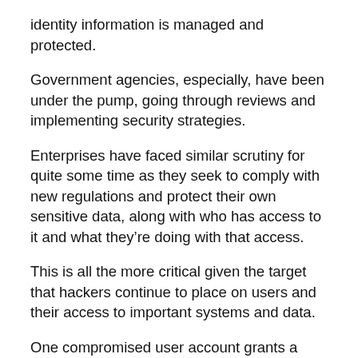identity information is managed and protected.
Government agencies, especially, have been under the pump, going through reviews and implementing security strategies.
Enterprises have faced similar scrutiny for quite some time as they seek to comply with new regulations and protect their own sensitive data, along with who has access to it and what they're doing with that access.
This is all the more critical given the target that hackers continue to place on users and their access to important systems and data.
One compromised user account grants a hacker immediate access to the business.
So, there are two issues that enterprises now face – the regulatory environment, and the fact that the